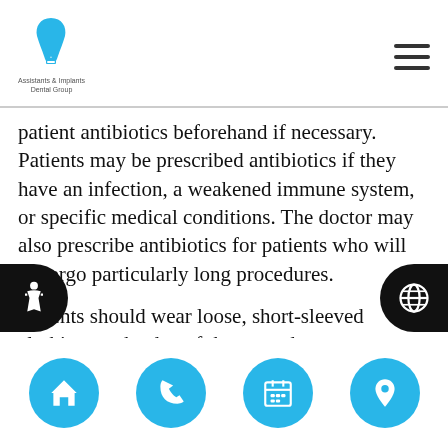Assistants & Implants Dental Group logo and navigation
patient antibiotics beforehand if necessary. Patients may be prescribed antibiotics if they have an infection, a weakened immune system, or specific medical conditions. The doctor may also prescribe antibiotics for patients who will undergo particularly long procedures.
Patients should wear loose, short-sleeved clothing on the day of the procedure. Additionally, they should refrain from eating or drinking for six to eight hours and refrain from smoking for 12 hours before their appointment. Patients should notify the office immediately if they have a cold, nausea, or vomiting, as this
Bottom navigation: home, phone, calendar, location